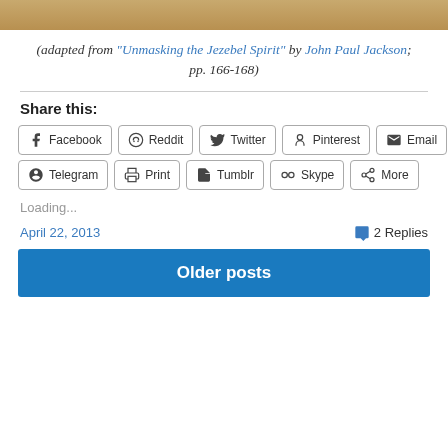[Figure (photo): Top partial strip of a photo, brownish/tan tones visible at top of page]
(adapted from "Unmasking the Jezebel Spirit" by John Paul Jackson; pp. 166-168)
Share this:
Facebook  Reddit  Twitter  Pinterest  Email  Telegram  Print  Tumblr  Skype  More
Loading...
April 22, 2013
2 Replies
Older posts